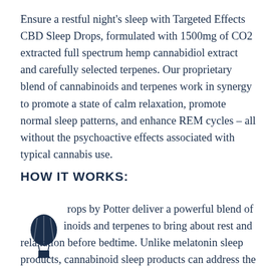Ensure a restful night's sleep with Targeted Effects CBD Sleep Drops, formulated with 1500mg of CO2 extracted full spectrum hemp cannabidiol extract and carefully selected terpenes. Our proprietary blend of cannabinoids and terpenes work in synergy to promote a state of calm relaxation, promote normal sleep patterns, and enhance REM cycles – all without the psychoactive effects associated with typical cannabis use.
HOW IT WORKS:
Sleep Drops by Potter deliver a powerful blend of cannabinoids and terpenes to bring about rest and relaxation before bedtime. Unlike melatonin sleep products, cannabinoid sleep products can address the